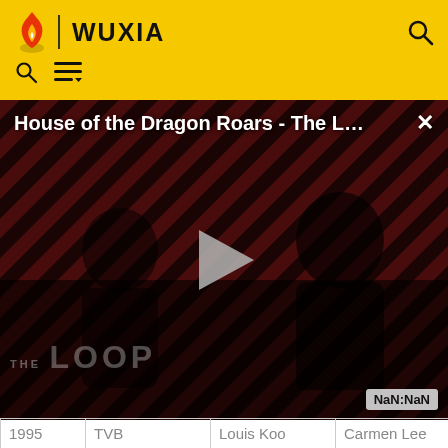WUXIA
[Figure (screenshot): Video player overlay showing 'House of the Dragon Roars - The L...' with a play button, dark background with diagonal red and black stripes, 'THE LOOP' text watermark, and a NaN:NaN timestamp badge. A close (X) button is in the top right.]
| Year | Network | Male lead | Female lead | Country |
| --- | --- | --- | --- | --- |
| 1995 | TVB | Louis Koo | Carmen Lee | Hong K… |
| 1998 | MediaCorp | Christopher Lee | Fann Wong | Si… |
| 2000 | Taiwan TV | Richie Jen | Jacqueline Wu | Taiwa… |